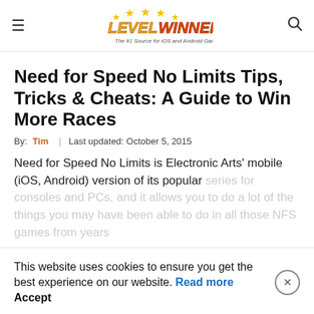Level Winner — The #1 Source for iOS and Android Game Guides
Need for Speed No Limits Tips, Tricks & Cheats: A Guide to Win More Races
By: Tim | Last updated: October 5, 2015
Need for Speed No Limits is Electronic Arts' mobile (iOS, Android) version of its popular series for consoles and PCs, and it allows you to do a lot of the things you may have been able to do in all those NFS games from years past. You can get to choose...
This website uses cookies to ensure you get the best experience on our website. Read more   Accept